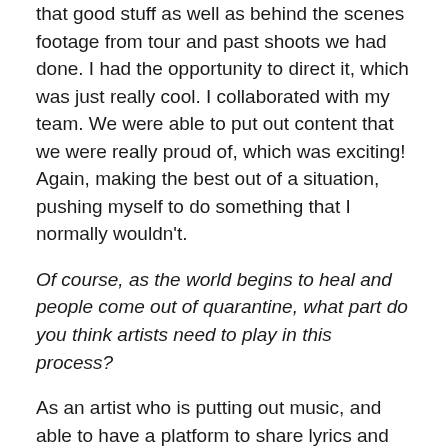that good stuff as well as behind the scenes footage from tour and past shoots we had done. I had the opportunity to direct it, which was just really cool. I collaborated with my team. We were able to put out content that we were really proud of, which was exciting! Again, making the best out of a situation, pushing myself to do something that I normally wouldn't.
Of course, as the world begins to heal and people come out of quarantine, what part do you think artists need to play in this process?
As an artist who is putting out music, and able to have a platform to share lyrics and melodies and ideas, it's so important to be honest and vulnerable. To not shut out the truth. Whether that is sorrow and pain, or the joy of healing. How beautiful is that? Whatever it is, as an artist it's so important to show up and be honest. To have hope